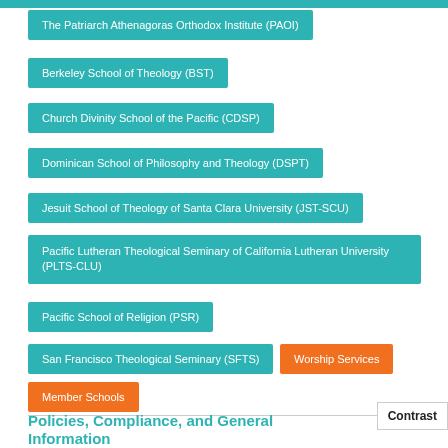The Patriarch Athenagoras Orthodox Institute (PAOI)
Berkeley School of Theology (BST)
Church Divinity School of the Pacific (CDSP)
Dominican School of Philosophy and Theology (DSPT)
Jesuit School of Theology of Santa Clara University (JST-SCU)
Pacific Lutheran Theological Seminary of California Lutheran University (PLTS-CLU)
Pacific School of Religion (PSR)
San Francisco Theological Seminary (SFTS)
Worship Services
Member Schools
Policies, Compliance, and General Information